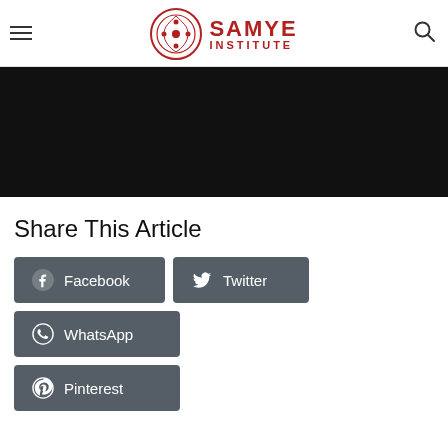Samye Institute
[Figure (other): Black video/image embed area]
Share This Article
Facebook
Twitter
WhatsApp
Pinterest